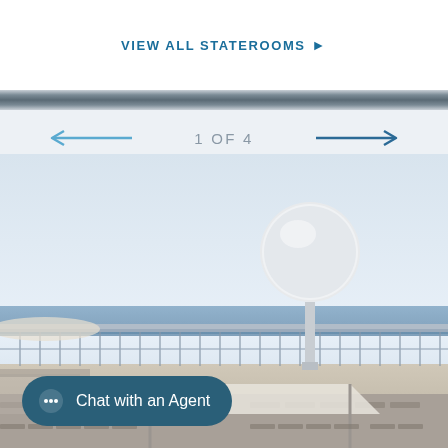VIEW ALL STATEROOMS ▶
1 OF 4
[Figure (photo): Cruise ship deck exterior photo showing upper deck with satellite dome, pool area with sun loungers, railings, a shade canopy, and ocean horizon in background under overcast sky.]
Chat with an Agent